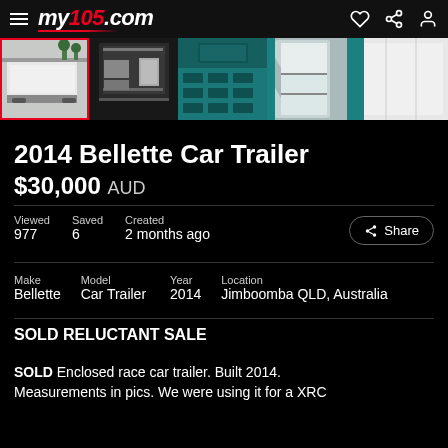my105.com
[Figure (photo): Photo strip showing 5 images of a 2014 Bellette enclosed car trailer: exterior white trailer, interior/ramp view, teal colored detail, open refrigerator/storage, interior white panel]
2014 Bellette Car Trailer
$30,000 AUD
Viewed 977  Saved 6  Created 2 months ago
Make: Bellette  Model: Car Trailer  Year: 2014  Location: Jimboomba QLD, Australia
SOLD RELUCTANT SALE
SOLD Enclosed race car trailer. Built 2014.
Measurements in pics. We were using it for a XRC